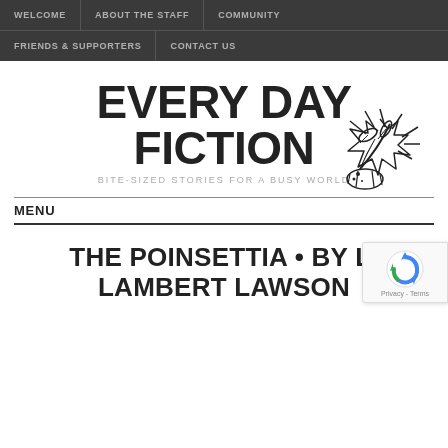WELCOME | ABOUT THE STAFF | COMMUNITY | FRIENDS & SUPPORTERS | CONTACT US
EVERY DAY FICTION
BITE-SIZED STORIES FOR A BUSY WORLD
[Figure (illustration): Hand-drawn logo of a hand holding a quill pen writing, with a starburst/explosion effect around the pen tip, ink drops and leaves]
MENU
THE POINSETTIA • BY L. LAMBERT LAWSON